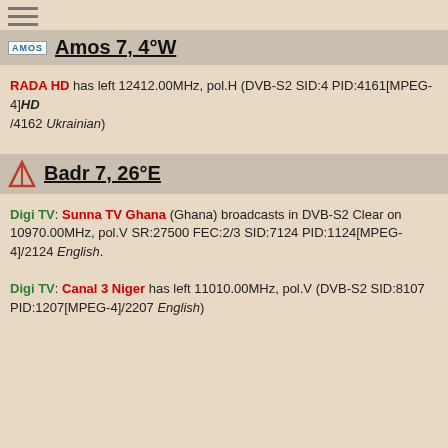[Figure (other): Hamburger menu icon with three horizontal lines]
Amos 7, 4°W
RADA HD has left 12412.00MHz, pol.H (DVB-S2 SID:4 PID:4161[MPEG-4] HD /4162 Ukrainian)
Badr 7, 26°E
Digi TV: Sunna TV Ghana (Ghana) broadcasts in DVB-S2 Clear on 10970.00MHz, pol.V SR:27500 FEC:2/3 SID:7124 PID:1124[MPEG-4]/2124 English.
Digi TV: Canal 3 Niger has left 11010.00MHz, pol.V (DVB-S2 SID:8107 PID:1207[MPEG-4]/2207 English)